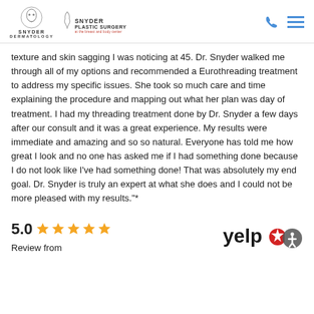Snyder Dermatology | Snyder Plastic Surgery
texture and skin sagging I was noticing at 45. Dr. Snyder walked me through all of my options and recommended a Eurothreading treatment to address my specific issues. She took so much care and time explaining the procedure and mapping out what her plan was day of treatment. I had my threading treatment done by Dr. Snyder a few days after our consult and it was a great experience. My results were immediate and amazing and so so natural. Everyone has told me how great I look and no one has asked me if I had something done because I do not look like I've had something done! That was absolutely my end goal. Dr. Snyder is truly an expert at what she does and I could not be more pleased with my results."*
5.0 ★★★★★
Review from